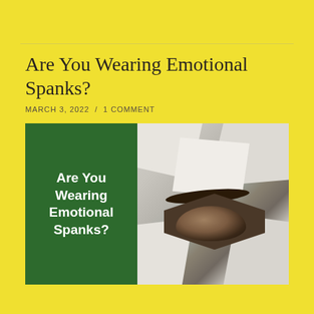Are You Wearing Emotional Spanks?
MARCH 3, 2022  /  1 COMMENT
[Figure (photo): A person wearing a white geometric/faceted paper or cardboard mask, with one eye visible through a hexagonal opening. The left portion of the image has a dark green panel with handwritten-style white text reading 'Are You Wearing Emotional Spanks?']